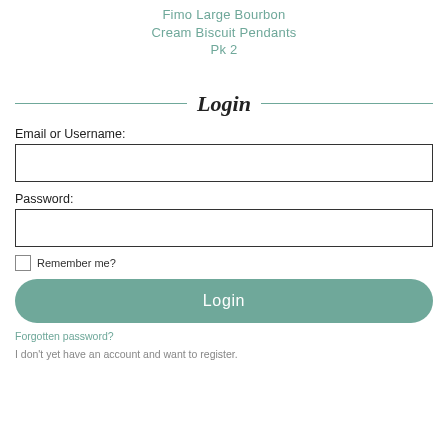Fimo Large Bourbon Cream Biscuit Pendants Pk 2
Login
Email or Username:
Password:
Remember me?
Login
Forgotten password?
I don't yet have an account and want to register.